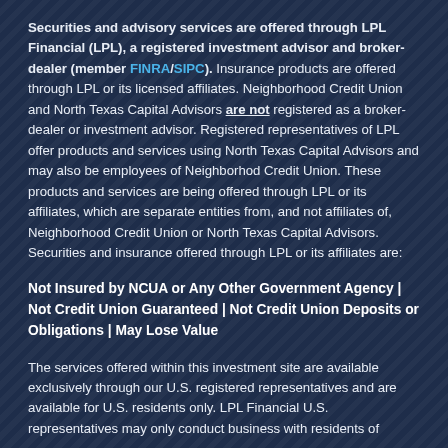Securities and advisory services are offered through LPL Financial (LPL), a registered investment advisor and broker-dealer (member FINRA/SIPC).  Insurance products are offered through LPL or its licensed affiliates. Neighborhood Credit Union and North Texas Capital Advisors are not registered as a broker-dealer or investment advisor. Registered representatives of LPL offer products and services using North Texas Capital Advisors and may also be employees of Neighborhod Credit Union. These products and services are being offered through LPL or its affiliates, which are separate entities from, and not affiliates of, Neighborhood Credit Union or North Texas Capital Advisors. Securities and insurance offered through LPL or its affiliates are:
Not Insured by NCUA or Any Other Government Agency | Not Credit Union Guaranteed | Not Credit Union Deposits or Obligations | May Lose Value
The services offered within this investment site are available exclusively through our U.S. registered representatives and are available for U.S. residents only.  LPL Financial U.S. representatives may only conduct business with residents of